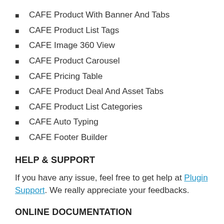CAFE Product With Banner And Tabs
CAFE Product List Tags
CAFE Image 360 View
CAFE Product Carousel
CAFE Pricing Table
CAFE Product Deal And Asset Tabs
CAFE Product List Categories
CAFE Auto Typing
CAFE Footer Builder
HELP & SUPPORT
If you have any issue, feel free to get help at Plugin Support. We really appreciate your feedbacks.
ONLINE DOCUMENTATION
For more info, please check out plugin documentation